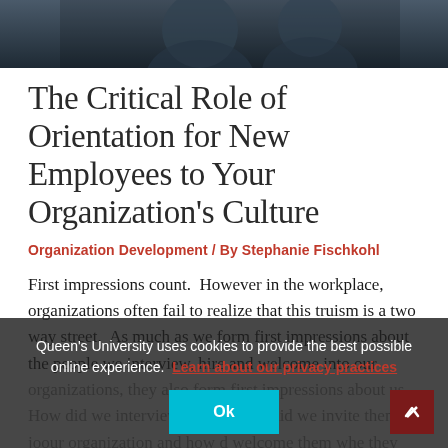[Figure (photo): Cropped photo of people in professional attire, dark background, partially visible heads and shoulders]
The Critical Role of Orientation for New Employees to Your Organization's Culture
Organization Development / By Stephanie Fischkohl
First impressions count.  However in the workplace, organizations often fail to realize that this truism is a two way street.  As much as we form first impressions about the people we interview, hire and welcome into our organizations, they also form first impressions about us.  How did we interview them?  How did we invite them to join our organization and how did we welcome them when they arrived?
Queen's University uses cookies to provide the best possible online experience. Learn about our privacy practices
Ok